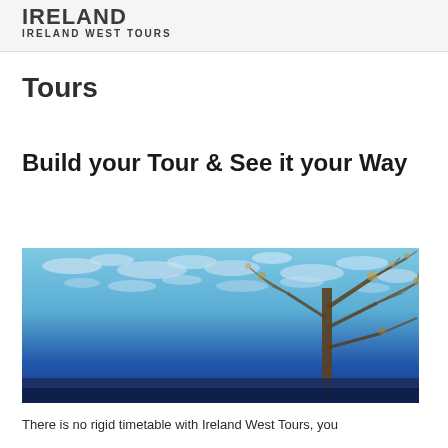IRELAND
IRELAND WEST TOURS
Tours
Build your Tour & See it your Way
[Figure (photo): Photograph of bare tree branches against a blue cloudy sky with a nature landscape background]
There is no rigid timetable with Ireland West Tours, you